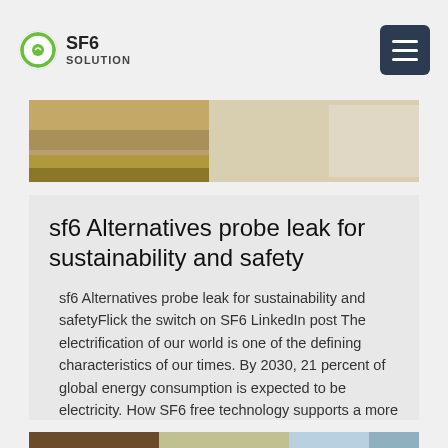SF6 SOLUTION
[Figure (photo): Top banner photo showing a dirt road or outdoor landscape scene]
sf6 Alternatives probe leak for sustainability and safety
sf6 Alternatives probe leak for sustainability and safetyFlick the switch on SF6 LinkedIn post The electrification of our world is one of the defining characteristics of our times. By 2030, 21 percent of global energy consumption is expected to be electricity. How SF6 free technology supports a more sustainable future
Get Price
[Figure (photo): Bottom banner photo showing electrical infrastructure or power lines]